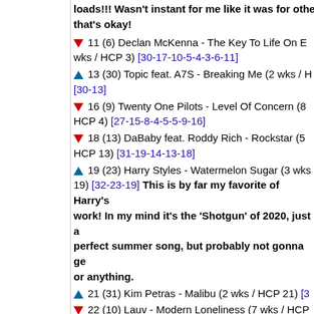loads!!! Wasn't instant for me like it was for othe that's okay!
▼ 11 (6) Declan McKenna - The Key To Life On E wks / HCP 3) [30-17-10-5-4-3-6-11]
▲ 13 (30) Topic feat. A7S - Breaking Me (2 wks / H [30-13]
▼ 16 (9) Twenty One Pilots - Level Of Concern (8 HCP 4) [27-15-8-4-5-5-9-16]
▼ 18 (13) DaBaby feat. Roddy Rich - Rockstar (5 HCP 13) [31-19-14-13-18]
▲ 19 (23) Harry Styles - Watermelon Sugar (3 wks 19) [32-23-19] This is by far my favorite of Harry's work! In my mind it's the 'Shotgun' of 2020, just a perfect summer song, but probably not gonna ge or anything.
▲ 21 (31) Kim Petras - Malibu (2 wks / HCP 21) [3
▼ 22 (10) Lauv - Modern Loneliness (7 wks / HCP [33-28-21-14-12-10-22]
▲ 28 (35) Niko B - Who's That What's That (2 wks 28) [35-28] Glad to see this here, so catchy and f
☆ 29 (-) Sia - Together (1 wk / HCP 29) [29]
▼ 30 (22) Regard & RAYE - Secrets (5 wks / HCP [37-33-25-22-30] Aww, has this peaked already?